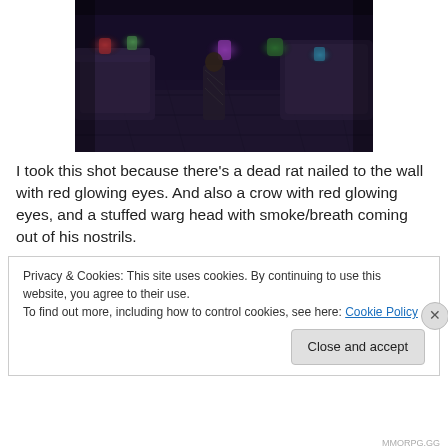[Figure (screenshot): A dark fantasy video game screenshot showing a character in a stone-floored room with glowing colored potions/lights on surfaces, draped furniture, and dark atmosphere.]
I took this shot because there's a dead rat nailed to the wall with red glowing eyes. And also a crow with red glowing eyes, and a stuffed warg head with smoke/breath coming out of his nostrils.
Privacy & Cookies: This site uses cookies. By continuing to use this website, you agree to their use.
To find out more, including how to control cookies, see here: Cookie Policy